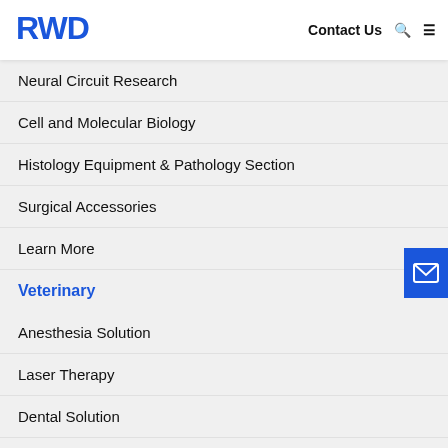RWD | Contact Us
Neural Circuit Research
Cell and Molecular Biology
Histology Equipment & Pathology Section
Surgical Accessories
Learn More
Veterinary
Anesthesia Solution
Laser Therapy
Dental Solution
Surgical Instrument